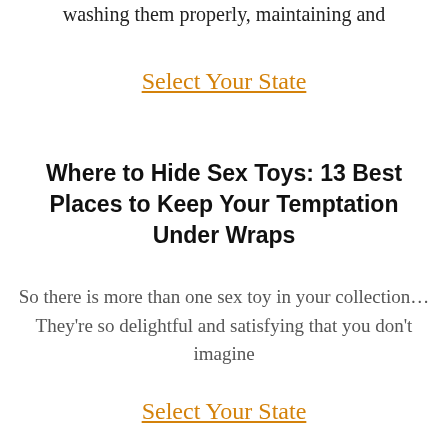washing them properly, maintaining and
Select Your State
Where to Hide Sex Toys: 13 Best Places to Keep Your Temptation Under Wraps
So there is more than one sex toy in your collection… They're so delightful and satisfying that you don't imagine
Select Your State